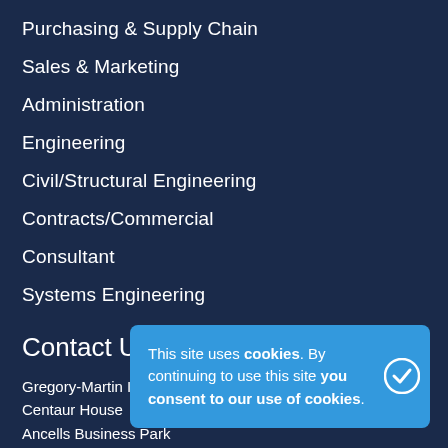Purchasing & Supply Chain
Sales & Marketing
Administration
Engineering
Civil/Structural Engineering
Contracts/Commercial
Consultant
Systems Engineering
Contact Us
Gregory-Martin International
Centaur House
Ancells Business Park
Ancells Road
Fleet
Hampshire
GU51 2UJ
United Kingdom
This site uses cookies. By continuing to use this site you consent to our use of cookies.